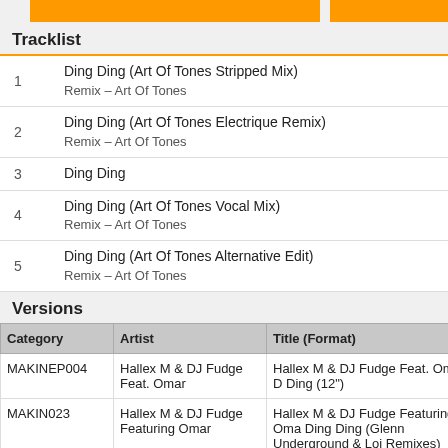Tracklist
1 – Ding Ding (Art Of Tones Stripped Mix)
Remix – Art Of Tones
2 – Ding Ding (Art Of Tones Electrique Remix)
Remix – Art Of Tones
3 – Ding Ding
4 – Ding Ding (Art Of Tones Vocal Mix)
Remix – Art Of Tones
5 – Ding Ding (Art Of Tones Alternative Edit)
Remix – Art Of Tones
Versions
| Category | Artist | Title (Format) |
| --- | --- | --- |
| MAKINEP004 | Hallex M & DJ Fudge Feat. Omar | Hallex M & DJ Fudge Feat. Omar - Ding Ding (12") |
| MAKIN023 | Hallex M & DJ Fudge Featuring Omar | Hallex M & DJ Fudge Featuring Omar - Ding Ding (Glenn Underground & Loi Remixes) (2xFile, WAV) |